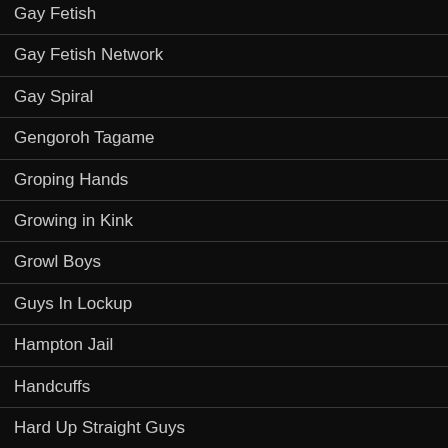Gay Fetish
Gay Fetish Network
Gay Spiral
Gengoroh Tagame
Groping Hands
Growing in Kink
Growl Boys
Guys In Lockup
Hampton Jail
Handcuffs
Hard Up Straight Guys
HardKinks (newly added link)
Harnesses